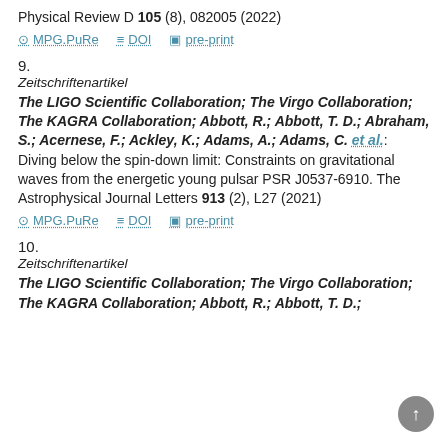Physical Review D 105 (8), 082005 (2022)
MPG.PuRe   DOI   pre-print
9.
Zeitschriftenartikel
The LIGO Scientific Collaboration; The Virgo Collaboration; The KAGRA Collaboration; Abbott, R.; Abbott, T. D.; Abraham, S.; Acernese, F.; Ackley, K.; Adams, A.; Adams, C. et al.: Diving below the spin-down limit: Constraints on gravitational waves from the energetic young pulsar PSR J0537-6910. The Astrophysical Journal Letters 913 (2), L27 (2021)
MPG.PuRe   DOI   pre-print
10.
Zeitschriftenartikel
The LIGO Scientific Collaboration; The Virgo Collaboration; The KAGRA Collaboration; Abbott, R.; Abbott, T. D.;